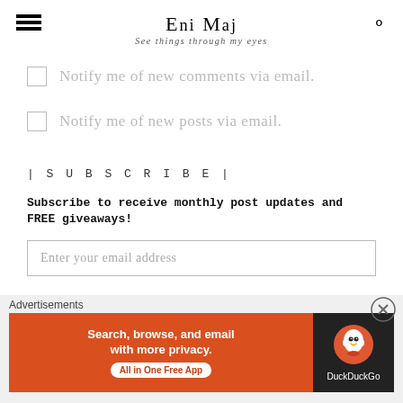ENI MAJ — See things through my eyes
Notify me of new comments via email.
Notify me of new posts via email.
| S U B S C R I B E |
Subscribe to receive monthly post updates and FREE giveaways!
Enter your email address
Advertisements
[Figure (screenshot): DuckDuckGo advertisement banner: orange left side with text 'Search, browse, and email with more privacy. All in One Free App', dark right side with DuckDuckGo duck logo and brand name.]